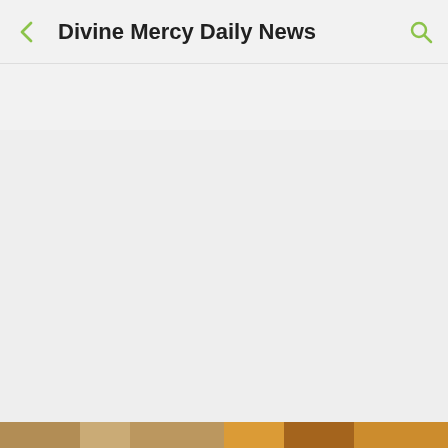Divine Mercy Daily News
[Figure (screenshot): Mobile app screenshot showing a partially loaded news app interface with a header bar, large empty gray content area, and two partially visible image thumbnails at the bottom]